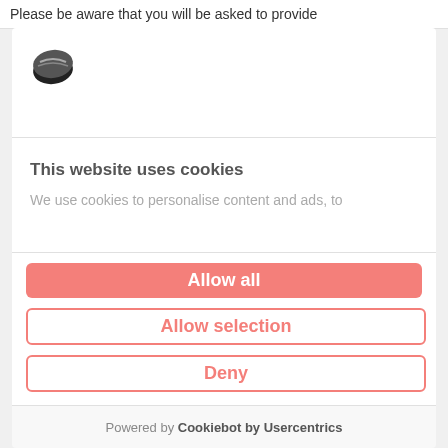Please be aware that you will be asked to provide
[Figure (logo): Cookiebot logo - circular cookie-like icon in black and white]
This website uses cookies
We use cookies to personalise content and ads, to
Allow all
Allow selection
Deny
Powered by Cookiebot by Usercentrics